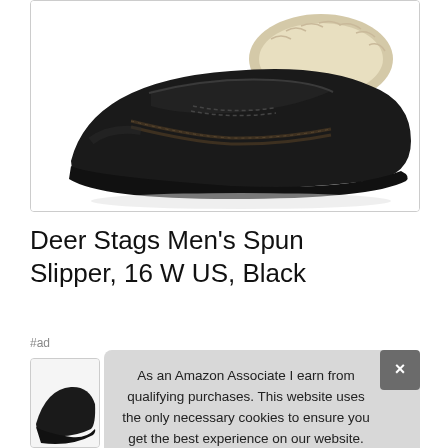[Figure (photo): Black leather moccasin slipper with cream sherpa lining, side view on white background. Deer Stags Men's Spun Slipper.]
Deer Stags Men's Spun Slipper, 16 W US, Black
#ad
[Figure (photo): Thumbnail of black Deer Stags slipper, partial view.]
As an Amazon Associate I earn from qualifying purchases. This website uses the only necessary cookies to ensure you get the best experience on our website. More information